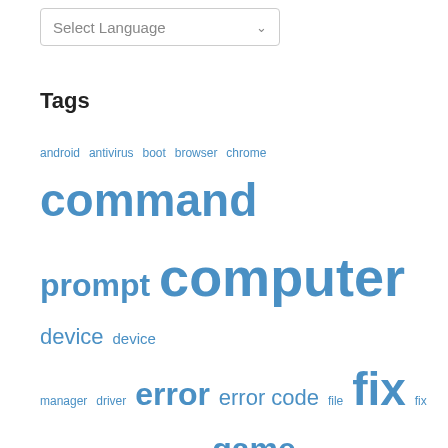[Figure (other): Select Language dropdown widget]
Tags
android antivirus boot browser chrome command prompt computer device device manager driver error error code file fix fix netflix fix windows folder game google chrome install internet connection laptop mac microsoft netflix app network office 365 restart